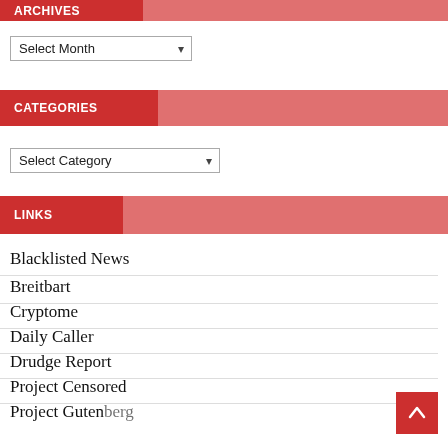ARCHIVES
Select Month
CATEGORIES
Select Category
LINKS
Blacklisted News
Breitbart
Cryptome
Daily Caller
Drudge Report
Project Censored
Project Gutenberg